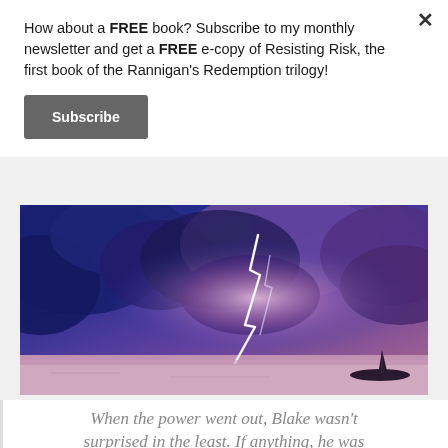How about a FREE book? Subscribe to my monthly newsletter and get a FREE e-copy of Resisting Risk, the first book of the Rannigan's Redemption trilogy!
Subscribe
[Figure (photo): A dramatic stormy sky with lightning strike over a calm sea, with a small boat silhouetted in the lower right. The clouds are deep blue and purple, and the lightning illuminates the scene with bright white and pink light.]
When the power went out, Blake wasn't surprised in the least. If anything, he was